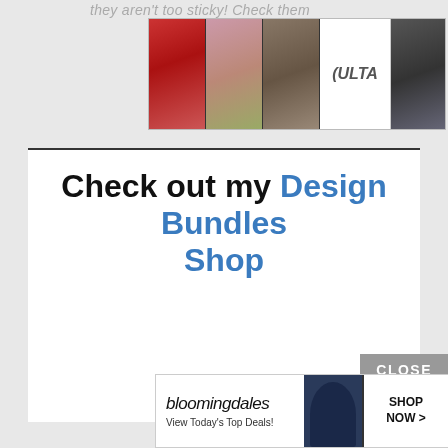they aren't too sticky! Check them
[Figure (screenshot): ULTA beauty advertisement banner with makeup imagery and 'SHOP NOW' button]
Check out my Design Bundles Shop
[Figure (screenshot): CLOSE button overlay]
[Figure (screenshot): Bloomingdale's advertisement with 'View Today's Top Deals!' and 'SHOP NOW >' button]